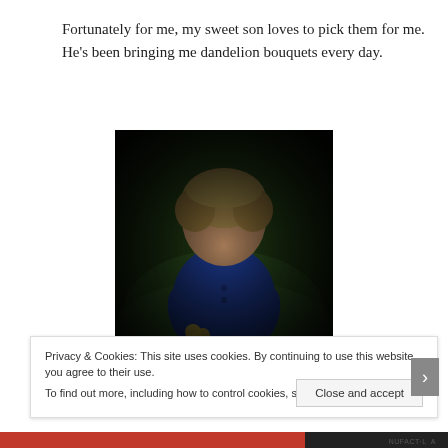Fortunately for me, my sweet son loves to pick them for me. He’s been bringing me dandelion bouquets every day.
[Figure (photo): A young boy in a blue long-sleeve shirt looking down, holding yellow dandelion flowers, standing on green grass. Photo has a vignette/dark edges effect.]
Privacy & Cookies: This site uses cookies. By continuing to use this website, you agree to their use. To find out more, including how to control cookies, see here: Cookie Policy